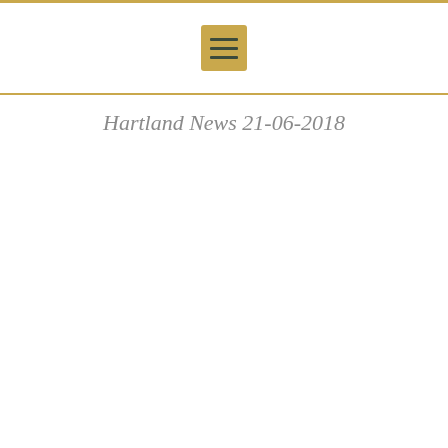[Figure (other): Hamburger menu icon — three horizontal dark green lines on a golden/tan square background]
Hartland News 21-06-2018